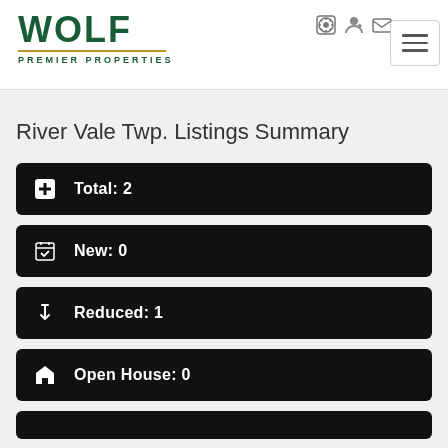[Figure (logo): Wolf Premier Properties logo with green text and gold underline]
River Vale Twp. Listings Summary
Total: 2
New: 0
Reduced: 1
Open House: 0